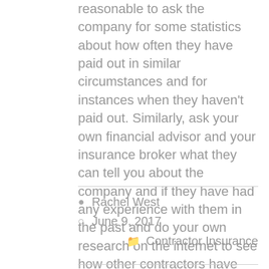reasonable to ask the company for some statistics about how often they have paid out in similar circumstances and for instances when they haven't paid out. Similarly, ask your own financial advisor and your insurance broker what they can tell you about the company and if they have had any experience with them in the past and do your own research on the internet to see how other contractors have reviewed them.
Rachel West
June 9, 2017
Contractor Insurance